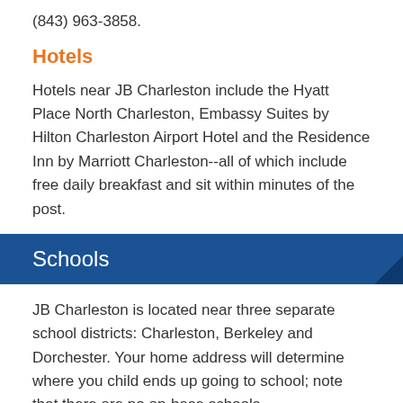(843) 963-3858.
Hotels
Hotels near JB Charleston include the Hyatt Place North Charleston, Embassy Suites by Hilton Charleston Airport Hotel and the Residence Inn by Marriott Charleston--all of which include free daily breakfast and sit within minutes of the post.
Schools
JB Charleston is located near three separate school districts: Charleston, Berkeley and Dorchester. Your home address will determine where you child ends up going to school; note that there are no on-base schools.
The School Liaison Officer (LSO) can help you with any questions you might have and can be contacted at (843) 963-4428.